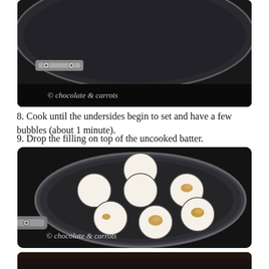[Figure (photo): Close-up of a dark nonstick pan/skillet from above, showing the handle hardware detail, dark background]
8. Cook until the undersides begin to set and have a few bubbles (about 1 minute).
9. Drop the filling on top of the uncooked batter.
[Figure (photo): A round nonstick aebleskiver/pancake puff pan with 7 circular wells, most filled with white batter, some with a dollop of peanut butter filling on top, dark background]
[Figure (photo): Partial view of another dark pan, cropped at bottom of page]